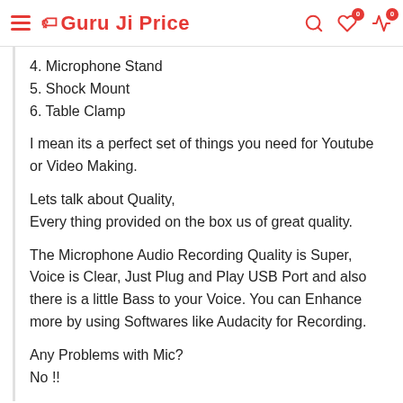Guru Ji Price
4. Microphone Stand
5. Shock Mount
6. Table Clamp
I mean its a perfect set of things you need for Youtube or Video Making.
Lets talk about Quality,
Every thing provided on the box us of great quality.
The Microphone Audio Recording Quality is Super, Voice is Clear, Just Plug and Play USB Port and also there is a little Bass to your Voice. You can Enhance more by using Softwares like Audacity for Recording.
Any Problems with Mic?
No !!